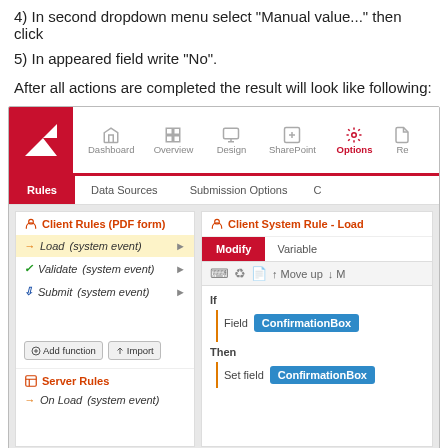4) In second dropdown menu select "Manual value..." then click
5) In appeared field write "No".
After all actions are completed the result will look like following:
[Figure (screenshot): Screenshot of a form builder application showing the Rules tab under Options. Left panel shows Client Rules (PDF form) with Load (system event) selected, Validate (system event), Submit (system event), Add function and Import buttons, and Server Rules with On Load (system event). Right panel shows Client System Rule - Load with Modify tab active, toolbar with Move up button, and a rule block showing If Field ConfirmationBox [then] Set field ConfirmationBox.]